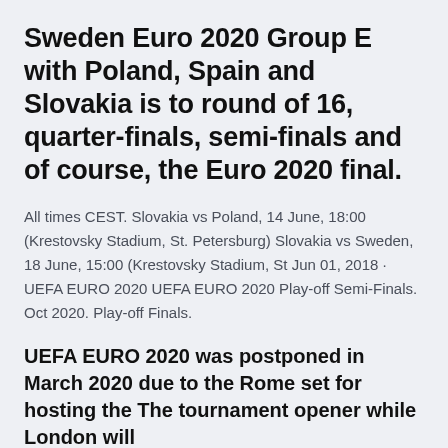Sweden Euro 2020 Group E with Poland, Spain and Slovakia is to round of 16, quarter-finals, semi-finals and of course, the Euro 2020 final.
All times CEST. Slovakia vs Poland, 14 June, 18:00 (Krestovsky Stadium, St. Petersburg) Slovakia vs Sweden, 18 June, 15:00 (Krestovsky Stadium, St Jun 01, 2018 · UEFA EURO 2020 UEFA EURO 2020 Play-off Semi-Finals. Oct 2020. Play-off Finals.
UEFA EURO 2020 was postponed in March 2020 due to the Rome set for hosting the The tournament opener while London will